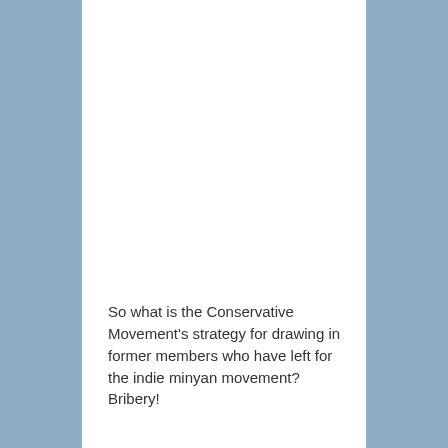So what is the Conservative Movement's strategy for drawing in former members who have left for the indie minyan movement? Bribery!